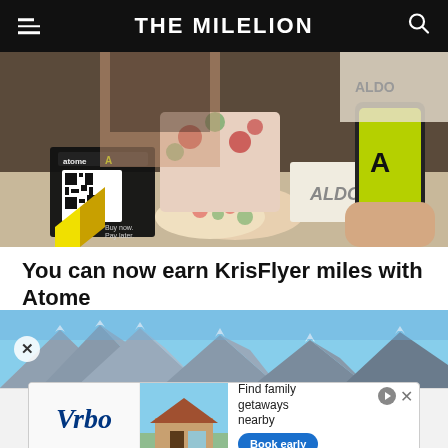THE MILELION
[Figure (photo): Shopping scene with Atome QR code sign, floral shoes, bags, and a person holding a phone with Atome app open at an ALDO store]
You can now earn KrisFlyer miles with Atome
AIRLINES  AARON WONG – AUG 19, 2022
[Figure (photo): Snow-capped mountains under blue sky, partial view with close button]
[Figure (other): Vrbo advertisement banner: Find family getaways nearby – Book early]